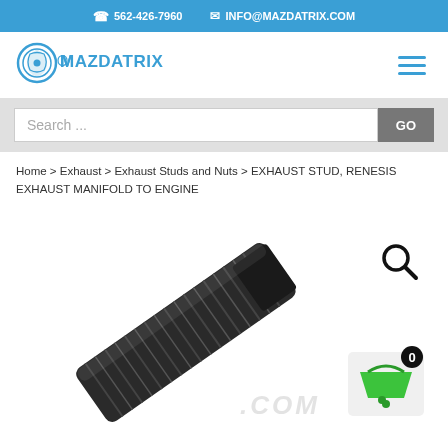562-426-7960  INFO@MAZDATRIX.COM
[Figure (logo): Mazdatrix logo with rotary engine graphic and blue stylized text]
[Figure (screenshot): Search bar with placeholder text 'Search ...' and a grey GO button]
Home > Exhaust > Exhaust Studs and Nuts > EXHAUST STUD, RENESIS EXHAUST MANIFOLD TO ENGINE
[Figure (photo): Close-up photo of a black threaded exhaust stud bolt with a magnifying glass icon and a green shopping cart badge showing 0 items]